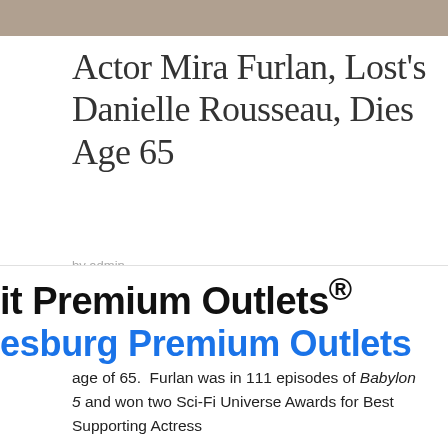[Figure (photo): Partial photo strip at the top of the page, cropped]
Actor Mira Furlan, Lost's Danielle Rousseau, Dies Age 65
by admin
Actress Mira Furlan of the sci-fi drama Babylon 5 and Lost's scientist Danielle Rousseau dies at the age of 65. Furlan was in 111 episodes of Babylon 5 and won two Sci-Fi Universe Awards for Best Supporting Actress
it Premium Outlets®
esburg Premium Outlets